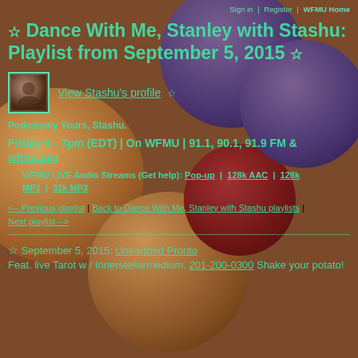Sign in  |  Register  |  WFMU Home
☆ Dance With Me, Stanley with Stashu: Playlist from September 5, 2015 ☆
[Figure (photo): Small thumbnail photo of Stashu profile picture]
View Stashu's profile ☆
Polkatively Yours, Stashu.
Friday 6 - 7pm (EDT) | On WFMU | 91.1, 90.1, 91.9 FM & wfmu.org
WFMU LIVE Audio Streams (Get help): Pop-up | 128k AAC | 128k MP3 | 32k MP3
<-- Previous playlist | Back to Dance With Me, Stanley with Stashu playlists | Next playlist -->
☆ September 5, 2015: Unearthed Pronto Feat. live Tarot w / Innerstellarmedium. 201-200-0300 Shake your potato!